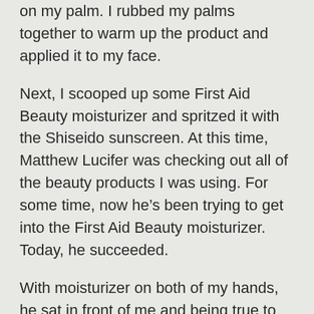on my palm.  I rubbed my palms together to warm up the product and applied it to my face.
Next, I scooped up some First Aid Beauty moisturizer and spritzed it with the Shiseido sunscreen.  At this time, Matthew Lucifer was checking out all of the beauty products I was using.  For some time, now he's been trying to get into the First Aid Beauty moisturizer.  Today, he succeeded.
With moisturizer on both of my hands, he sat in front of me and being true to his middle name, pushed that full container of moisturizer off the sink and onto the rug.  He jumped off the sink to check out his accomplishment only to discover that maybe this was a bad idea.  He looked up at me like he was saying, “You won’t be needing this anymore!”
I finished applying the moisturizer, picked up what